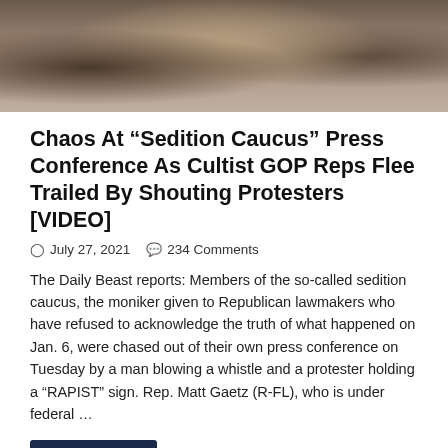[Figure (photo): Outdoor crowd scene, person in white cap visible from behind, blurred background]
Chaos At “Sedition Caucus” Press Conference As Cultist GOP Reps Flee Trailed By Shouting Protesters [VIDEO]
July 27, 2021  234 Comments
The Daily Beast reports: Members of the so-called sedition caucus, the moniker given to Republican lawmakers who have refused to acknowledge the truth of what happened on Jan. 6, were chased out of their own press conference on Tuesday by a man blowing a whistle and a protester holding a “RAPIST” sign. Rep. Matt Gaetz (R-FL), who is under federal …
Read More »
tweet
Share
[Figure (photo): Partial photo at bottom of page, person visible]